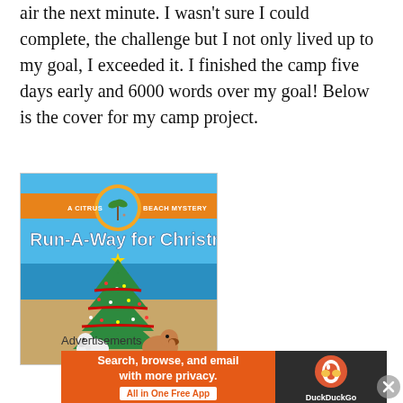air the next minute. I wasn't sure I could complete, the challenge but I not only lived up to my goal, I exceeded it. I finished the camp five days early and 6000 words over my goal! Below is the cover for my camp project.
[Figure (illustration): Book cover for 'Run-A-Way for Christmas' — A Citrus Beach Mystery. Features a beach scene with a decorated Christmas tree, a star on top, and two dogs (a white fluffy dog and a brown and white beagle). The sky is blue, the ocean is in the background, and orange branding at the top reads 'A CITRUS BEACH MYSTERY' over an orange fruit logo with a palm tree beach scene inside.]
Advertisements
[Figure (screenshot): DuckDuckGo advertisement banner: orange left panel reading 'Search, browse, and email with more privacy. All in One Free App'; dark right panel showing the DuckDuckGo duck logo and 'DuckDuckGo' text.]